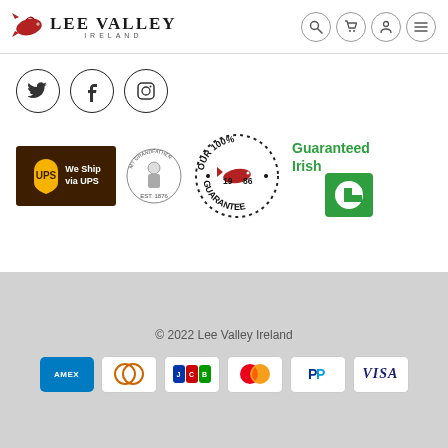Lee Valley Ireland — navigation header with logo and icons
[Figure (logo): Lee Valley Ireland logo with salmon icon and text LEE VALLEY IRELAND]
[Figure (other): Navigation icons: search, cart, account, menu]
[Figure (other): Social media icons: Twitter, Facebook, Instagram in circles]
[Figure (logo): UPS We Ship via UPS badge]
[Figure (logo): My Grandfather since 1876 badge]
[Figure (logo): Our 100% 1986 Guarantee badge with salmon]
[Figure (logo): Guaranteed Irish logo]
© 2022 Lee Valley Ireland
[Figure (other): Payment method logos: Amex, Diners Club, JCB, Mastercard, PayPal, Visa]